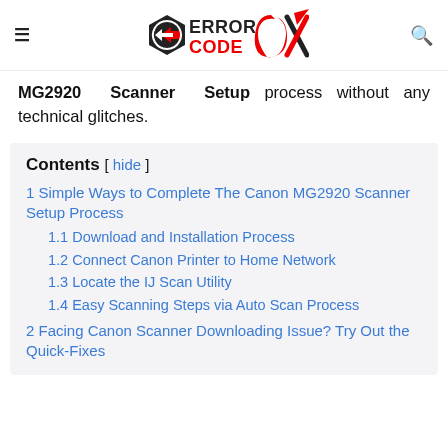Error Code OX (logo)
MG2920 Scanner Setup process without any technical glitches.
Contents [ hide ]
1 Simple Ways to Complete The Canon MG2920 Scanner Setup Process
1.1 Download and Installation Process
1.2 Connect Canon Printer to Home Network
1.3 Locate the IJ Scan Utility
1.4 Easy Scanning Steps via Auto Scan Process
2 Facing Canon Scanner Downloading Issue? Try Out the Quick-Fixes